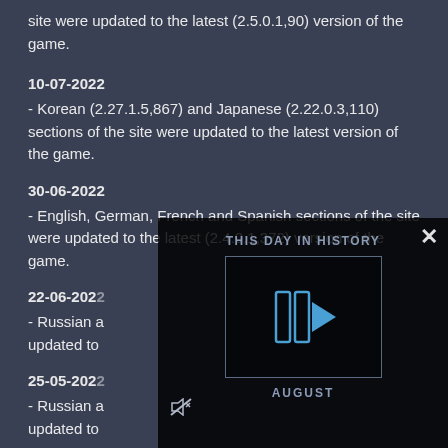site were updated to the latest (2.5.0.1,90) version of the game.
10-07-2022
- Korean (2.27.1.5,867) and Japanese (2.22.0.3,110) sections of the site were updated to the latest version of the game.
30-06-2022
- English, German, French and Spanish sections of the site were updated to the latest (2.4.0.1,372) version of the game.
22-06-2022
- Russian a... updated to...
25-05-202...
- Russian a... updated to...
19-05-202...
- English, G... site were u...
[Figure (screenshot): A video overlay popup showing 'THIS DAY IN HISTORY' with a play button icon in a box, the word 'AUGUST' below it, a mute icon, and a close X button in the top right corner.]